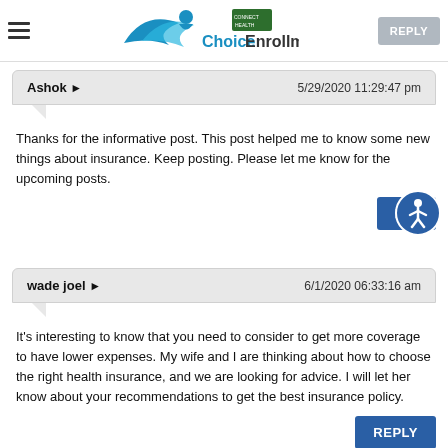ChoiceEnrollment – website header with logo and hamburger menu
their birth to the plan. I'll have to pass this information to them to help them find insurance.
Ashok → 5/29/2020 11:29:47 pm
Thanks for the informative post. This post helped me to know some new things about insurance. Keep posting. Please let me know for the upcoming posts.
wade joel → 6/1/2020 06:33:16 am
It's interesting to know that you need to consider to get more coverage to have lower expenses. My wife and I are thinking about how to choose the right health insurance, and we are looking for advice. I will let her know about your recommendations to get the best insurance policy.